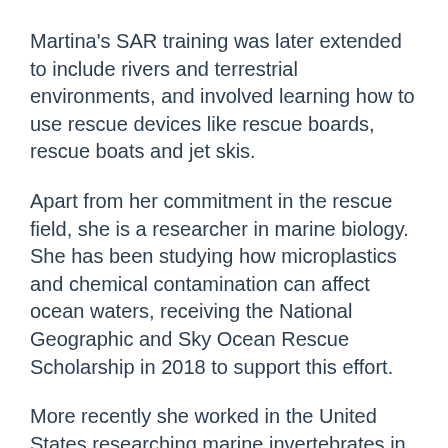Martina's SAR training was later extended to include rivers and terrestrial environments, and involved learning how to use rescue devices like rescue boards, rescue boats and jet skis.
Apart from her commitment in the rescue field, she is a researcher in marine biology. She has been studying how microplastics and chemical contamination can affect ocean waters, receiving the National Geographic and Sky Ocean Rescue Scholarship in 2018 to support this effort.
More recently she worked in the United States researching marine invertebrates in the North Atlantic Ocean and their relation with the environment.
In August 2022 Martina will be a part of the IMRF's